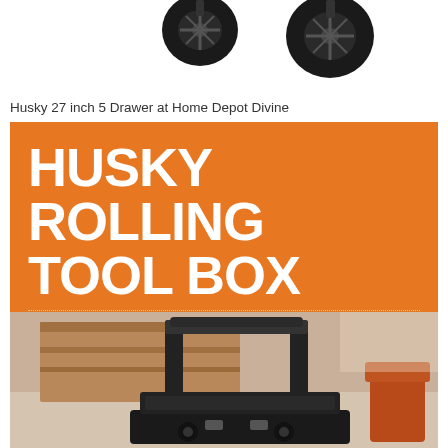[Figure (photo): Top portion of a Husky rolling tool box showing two black wheels/casters at the top]
Husky 27 inch 5 Drawer at Home Depot Divine
[Figure (infographic): Orange banner with white bold text reading 'HUSKY ROLLING TOOL BOX' and subtitle 'FROM THE HOME DEPOT']
[Figure (photo): Photo of a Husky rolling tool box in a garage/workshop setting with wooden workbench and chair in background]